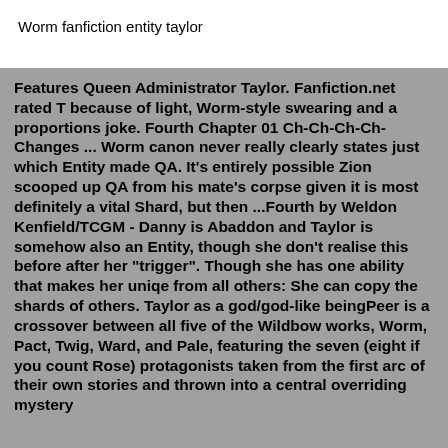Worm fanfiction entity taylor
Features Queen Administrator Taylor. Fanfiction.net rated T because of light, Worm-style swearing and a proportions joke. Fourth Chapter 01 Ch-Ch-Ch-Ch-Changes ... Worm canon never really clearly states just which Entity made QA. It's entirely possible Zion scooped up QA from his mate's corpse given it is most definitely a vital Shard, but then ...Fourth by Weldon Kenfield/TCGM - Danny is Abaddon and Taylor is somehow also an Entity, though she don't realise this before after her "trigger". Though she has one ability that makes her uniqe from all others: She can copy the shards of others. Taylor as a god/god-like beingPeer is a crossover between all five of the Wildbow works, Worm, Pact, Twig, Ward, and Pale, featuring the seven (eight if you count Rose) protagonists taken from the first arc of their own stories and thrown into a central overriding mystery